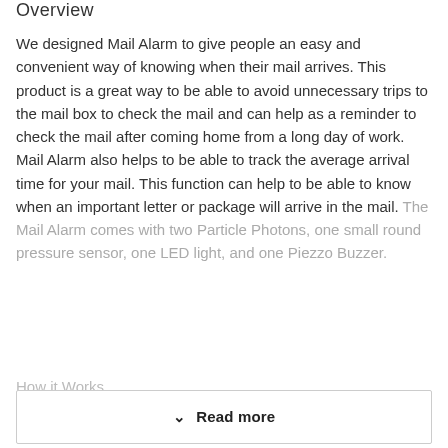Overview
We designed Mail Alarm to give people an easy and convenient way of knowing when their mail arrives. This product is a great way to be able to avoid unnecessary trips to the mail box to check the mail and can help as a reminder to check the mail after coming home from a long day of work. Mail Alarm also helps to be able to track the average arrival time for your mail. This function can help to be able to know when an important letter or package will arrive in the mail. The Mail Alarm comes with two Particle Photons, one small round pressure sensor, one LED light, and one Piezzo Buzzer.
How it Works
Read more